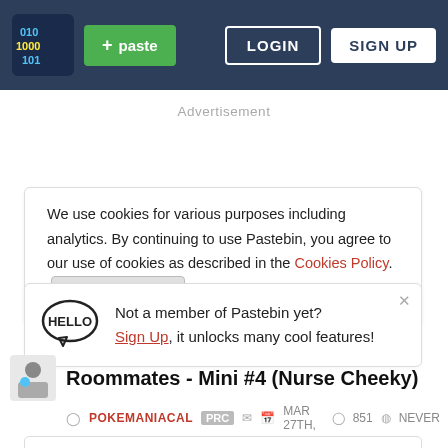[Figure (screenshot): Pastebin website header with logo, green paste button, LOGIN and SIGN UP buttons on dark blue background]
Advertisement
We use cookies for various purposes including analytics. By continuing to use Pastebin, you agree to our use of cookies as described in the Cookies Policy. OK, I Understand
Not a member of Pastebin yet? Sign Up, it unlocks many cool features!
Roommates - Mini #4 (Nurse Cheeky)
POKEMANIACAL PRC MAR 27TH, 851 NEVER
Not a member of Pastebin yet? Sign Up, it unlocks many cool features!